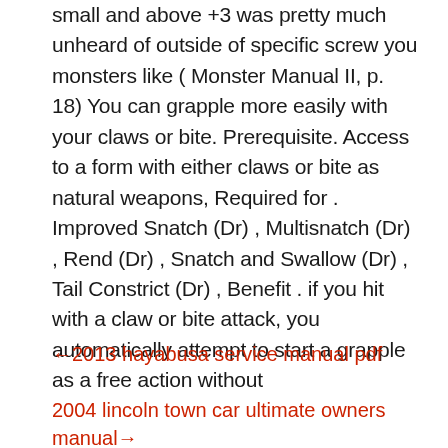small and above +3 was pretty much unheard of outside of specific screw you monsters like ( Monster Manual II, p. 18) You can grapple more easily with your claws or bite. Prerequisite. Access to a form with either claws or bite as natural weapons, Required for . Improved Snatch (Dr) , Multisnatch (Dr) , Rend (Dr) , Snatch and Swallow (Dr) , Tail Constrict (Dr) , Benefit . if you hit with a claw or bite attack, you automatically attempt to start a grapple as a free action without
←2013 hayabusa service manual pdf
2004 lincoln town car ultimate owners manual→